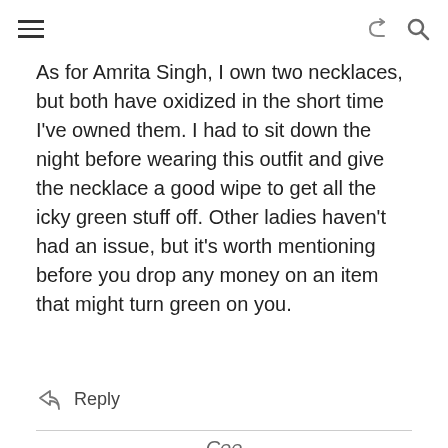[hamburger menu] [share icon] [search icon]
As for Amrita Singh, I own two necklaces, but both have oxidized in the short time I’ve owned them. I had to sit down the night before wearing this outfit and give the necklace a good wipe to get all the icky green stuff off. Other ladies haven’t had an issue, but it’s worth mentioning before you drop any money on an item that might turn green on you.
Reply
Cee
April 19, 2012 at 1:59 pm
I studied your photos for the longest time before I